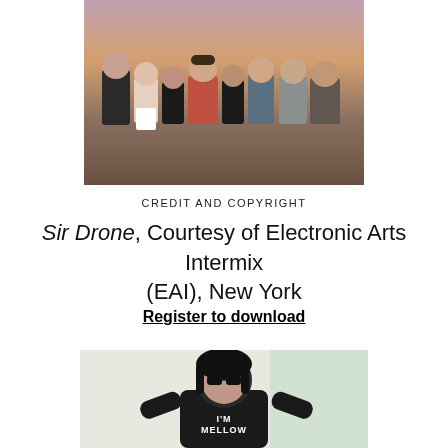[Figure (photo): Group photo of approximately 8 people standing outdoors at dusk/sunset in a desert landscape]
CREDIT AND COPYRIGHT
Sir Drone, Courtesy of Electronic Arts Intermix (EAI), New York
Register to download
[Figure (photo): Photo of a woman wearing sunglasses and a black t-shirt that reads 'I'M MELLOW', indoors]